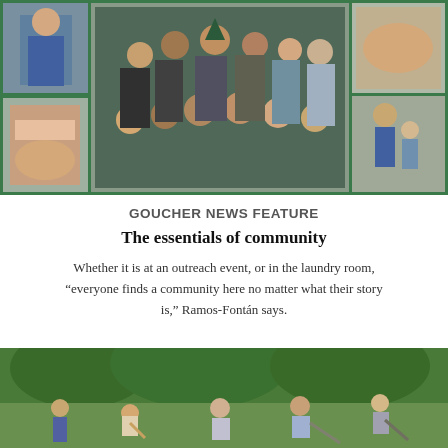[Figure (photo): Photo collage of students at community events. Center: group photo of approximately 15 students in a classroom with a chalkboard. Left column: top photo shows a student in a blue shirt, bottom photo shows hands engaged in an activity. Right column: top photo shows hands, bottom photo shows a young person with a child.]
GOUCHER NEWS FEATURE
The essentials of community
Whether it is at an outreach event, or in the laundry room, “everyone finds a community here no matter what their story is,” Ramos-Fontán says.
[Figure (photo): Outdoor photo of several people working in a green, wooded area, bending over and using tools in the vegetation.]